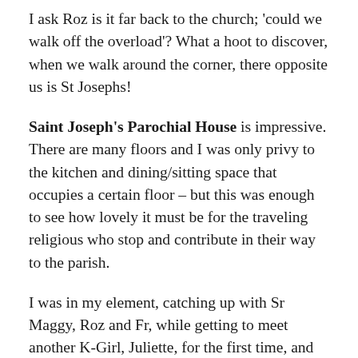I ask Roz is it far back to the church; 'could we walk off the overload'?  What a hoot to discover, when we walk around the corner,  there opposite us is St Josephs!
Saint Joseph's Parochial House is impressive.  There are many floors and I was only privy to the kitchen and dining/sitting space that occupies a certain floor – but this was enough to see how lovely it must be for the traveling religious who stop and contribute in their way to the parish.
I was in my element, catching up with Sr Maggy, Roz and Fr, while getting to meet another K-Girl, Juliette, for the first time, and meet the many volunteers and some not-so-local (some as far out as the Bronx) kids who have come in to help out as well.  We set up a catering train as one sliced bread, another buttered, another sliced